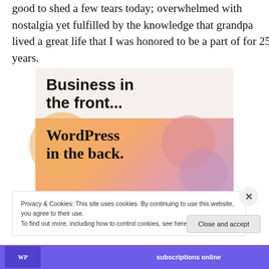therapeutic effect of actual emotional release though. It felt good to shed a few tears today; overwhelmed with nostalgia yet fulfilled by the knowledge that grandpa lived a great life that I was honored to be a part of for 25 years.
[Figure (illustration): Advertisement banner showing 'Business in the front...' text on a light beige background on top, and 'WordPress in the back.' text on a colorful gradient orange-pink-purple background with bubble shapes on the bottom.]
Privacy & Cookies: This site uses cookies. By continuing to use this website, you agree to their use.
To find out more, including how to control cookies, see here: Cookie Policy
Close and accept
[Figure (other): Bottom advertisement strip with purple background showing 'subscriptions online' text]